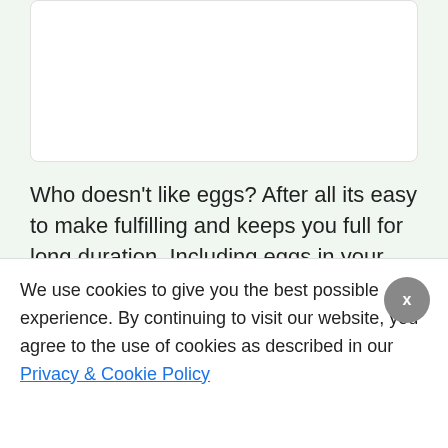[Figure (other): White card/image placeholder at the top of the page]
Who doesn't like eggs? After all its easy to make fulfilling and keeps you full for long duration. Including eggs in your diet can actually …
[Figure (other): Red 'Read more' button]
We use cookies to give you the best possible experience. By continuing to visit our website, you agree to the use of cookies as described in our Privacy & Cookie Policy